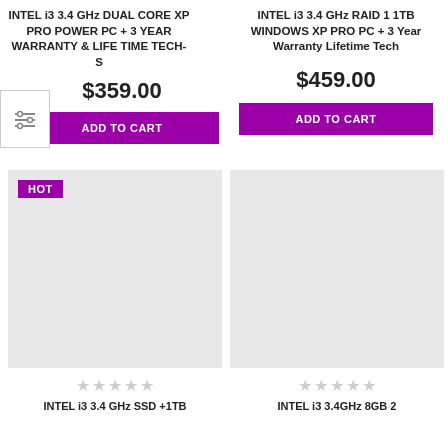INTEL i3 3.4 GHz DUAL CORE XP PRO POWER PC + 3 YEAR WARRANTY & LIFE TIME TECH-S
$359.00
ADD TO CART
INTEL i3 3.4 GHz RAID 1 1TB WINDOWS XP PRO PC + 3 Year Warranty Lifetime Tech
$459.00
ADD TO CART
[Figure (photo): Product image placeholder with HOT badge - gray rectangle]
[Figure (photo): Product image placeholder - gray rectangle]
★★★★★
★★★★★
INTEL i3 3.4 GHz SSD +1TB
INTEL i3 3.4GHz 8GB 2